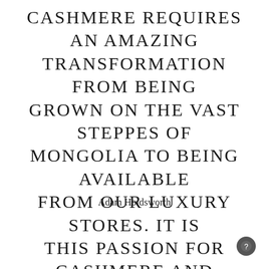CASHMERE REQUIRES AN AMAZING TRANSFORMATION FROM BEING GROWN ON THE VAST STEPPES OF MONGOLIA TO BEING AVAILABLE FROM OUR LUXURY STORES. IT IS THIS PASSION FOR CASHMERE AND OUR DESIRE TO WORK WITH THIS WONDERFUL FIBRE THAT DEFINES N.PEAL.
Adam Holdsworth